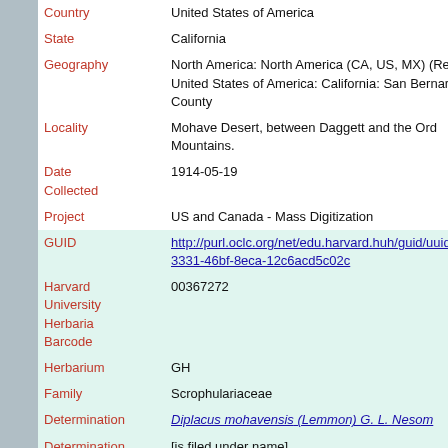| Field | Value |
| --- | --- |
| Country | United States of America |
| State | California |
| Geography | North America: North America (CA, US, MX) (Region): United States of America: California: San Bernardino County |
| Locality | Mohave Desert, between Daggett and the Ord Mountains. |
| Date Collected | 1914-05-19 |
| Project | US and Canada - Mass Digitization |
| GUID | http://purl.oclc.org/net/edu.harvard.huh/guid/uuid/859...3331-46bf-8eca-12c6acd5c02c |
| Harvard University Herbaria Barcode | 00367272 |
| Herbarium | GH |
| Family | Scrophulariaceae |
| Determination | Diplacus mohavensis (Lemmon) G. L. Nesom |
| Determination Remarks | [is filed under name] |
| Family | Scrophulariaceae |
| Determination | Mimulus mohavensis Lemmon |
| Determined by | Thompson, David M. |